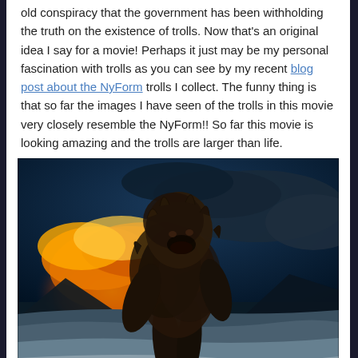old conspiracy that the government has been withholding the truth on the existence of trolls. Now that's an original idea I say for a movie! Perhaps it just may be my personal fascination with trolls as you can see by my recent blog post about the NyForm trolls I collect. The funny thing is that so far the images I have seen of the trolls in this movie very closely resemble the NyForm!! So far this movie is looking amazing and the trolls are larger than life.
[Figure (photo): A large hairy troll creature silhouetted against a dramatic sunset sky with orange and yellow clouds, standing over a snowy road in a mountainous landscape. A vehicle is visible on the road beneath the troll.]